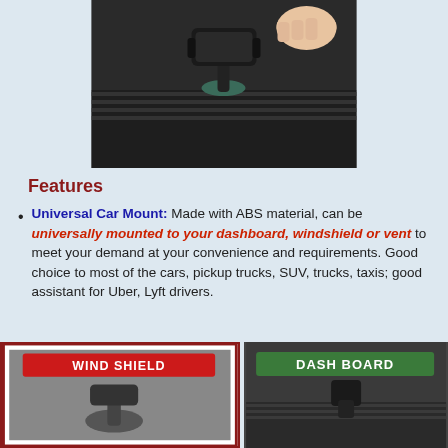[Figure (photo): A hand adjusting a black car phone mount/holder on a car dashboard, close-up photo]
Features
Universal Car Mount: Made with ABS material, can be universally mounted to your dashboard, windshield or vent to meet your demand at your convenience and requirements. Good choice to most of the cars, pickup trucks, SUV, trucks, taxis; good assistant for Uber, Lyft drivers.
[Figure (photo): Two panel image showing WIND SHIELD and DASH BOARD mounting options for a car phone holder]